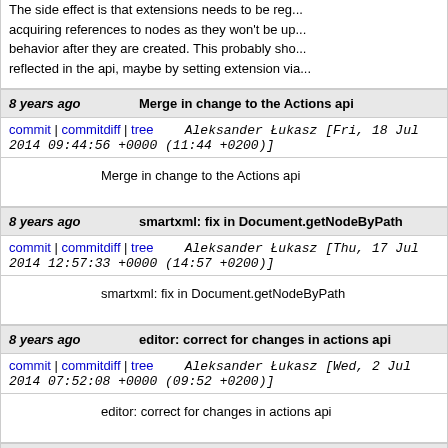The side effect is that extensions needs to be reg... acquiring references to nodes as they won't be up... behavior after they are created. This probably sho... reflected in the api, maybe by setting extension via...
8 years ago   Merge in change to the Actions api
commit | commitdiff | tree   Aleksander Łukasz [Fri, 18 Jul 2014 09:44:56 +0000 (11:44 +0200)]
Merge in change to the Actions api
8 years ago   smartxml: fix in Document.getNodeByPath
commit | commitdiff | tree   Aleksander Łukasz [Thu, 17 Jul 2014 12:57:33 +0000 (14:57 +0200)]
smartxml: fix in Document.getNodeByPath
8 years ago   editor: correct for changes in actions api
commit | commitdiff | tree   Aleksander Łukasz [Wed, 2 Jul 2014 07:52:08 +0000 (09:52 +0200)]
editor: correct for changes in actions api
8 years ago   fnpjs: Action now triggers actionExecuted